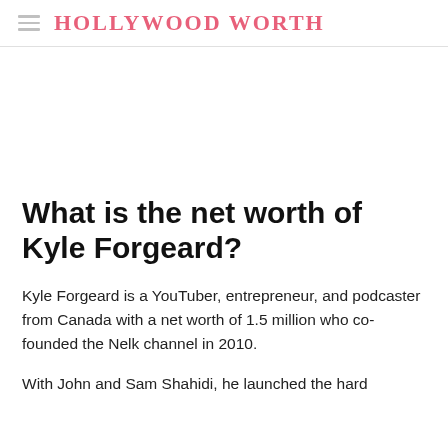HOLLYWOOD WORTH
What is the net worth of Kyle Forgeard?
Kyle Forgeard is a YouTuber, entrepreneur, and podcaster from Canada with a net worth of 1.5 million who co-founded the Nelk channel in 2010.
With John and Sam Shahidi, he launched the hard